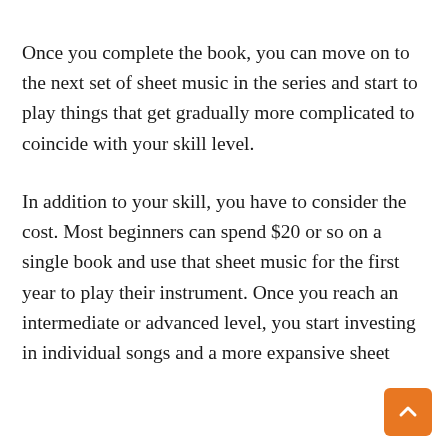Once you complete the book, you can move on to the next set of sheet music in the series and start to play things that get gradually more complicated to coincide with your skill level.
In addition to your skill, you have to consider the cost. Most beginners can spend $20 or so on a single book and use that sheet music for the first year to play their instrument. Once you reach an intermediate or advanced level, you start investing in individual songs and a more expansive sheet